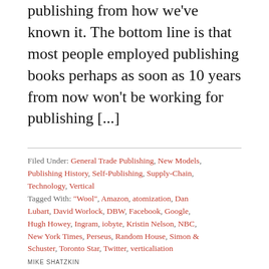publishing from how we've known it. The bottom line is that most people employed publishing books perhaps as soon as 10 years from now won't be working for publishing [...]
Filed Under: General Trade Publishing, New Models, Publishing History, Self-Publishing, Supply-Chain, Technology, Vertical
Tagged With: "Wool", Amazon, atomization, Dan Lubart, David Worlock, DBW, Facebook, Google, Hugh Howey, Ingram, iobyte, Kristin Nelson, NBC, New York Times, Perseus, Random House, Simon & Schuster, Toronto Star, Twitter, verticaliation
MIKE SHATZKIN